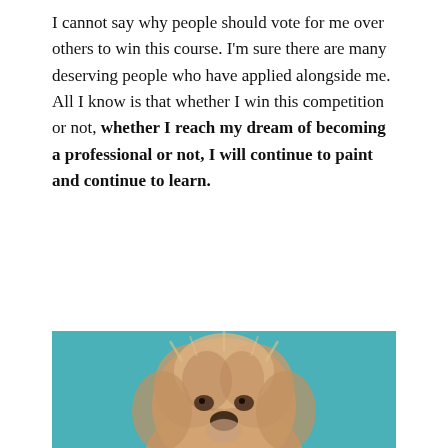I cannot say why people should vote for me over others to win this course. I'm sure there are many deserving people who have applied alongside me. All I know is that whether I win this competition or not, whether I reach my dream of becoming a professional or not, I will continue to paint and continue to learn.
[Figure (illustration): A painting of a small fluffy dog (appears to be a Yorkshire Terrier or similar breed) with tan/beige fur against a teal/turquoise background. The painting shows just the dog's head and upper body, rendered in a painterly style.]